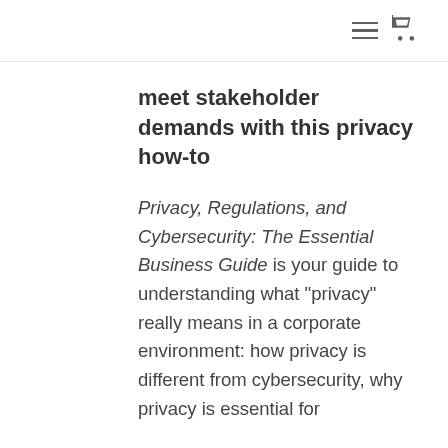[menu icon] [cart icon]
meet stakeholder demands with this privacy how-to
Privacy, Regulations, and Cybersecurity: The Essential Business Guide is your guide to understanding what "privacy" really means in a corporate environment: how privacy is different from cybersecurity, why privacy is essential for